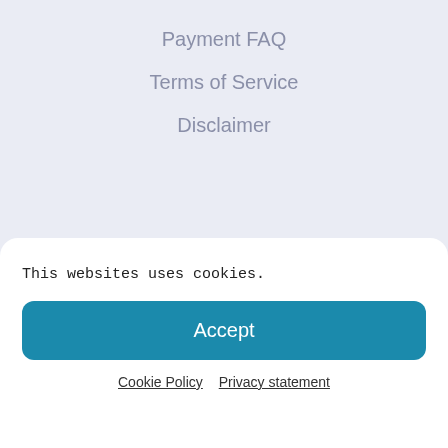Payment FAQ
Terms of Service
Disclaimer
Information & Legal US
Cookie Policy(US)& Privacy Policy(US)
This websites uses cookies.
Accept
Cookie Policy   Privacy statement